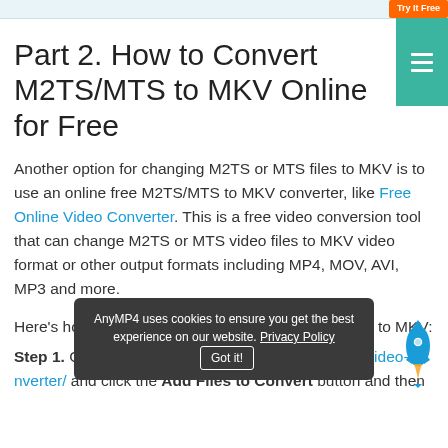Part 2. How to Convert M2TS/MTS to MKV Online for Free
Another option for changing M2TS or MTS files to MKV is to use an online free M2TS/MTS to MKV converter, like Free Online Video Converter. This is a free video conversion tool that can change M2TS or MTS video files to MKV video format or other output formats including MP4, MOV, AVI, MP3 and more.
Here's how to make the conversion from M2TS/MTS to MKV:
Step 1. Go to https://www.anymp4.com/free-online-video-converter/ and click the Add Files to Convert button and then
AnyMP4 uses cookies to ensure you get the best experience on our website. Privacy Policy  Got it!